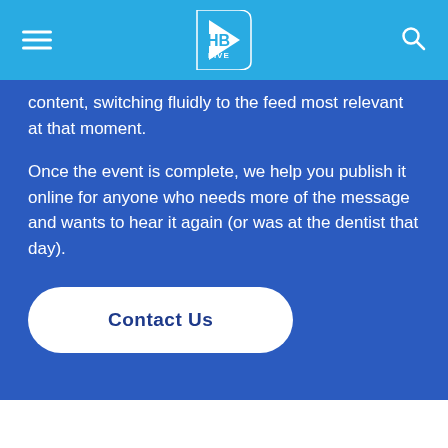HB LIVE navigation header with hamburger menu and search icon
content, switching fluidly to the feed most relevant at that moment.
Once the event is complete, we help you publish it online for anyone who needs more of the message and wants to hear it again (or was at the dentist that day).
Contact Us